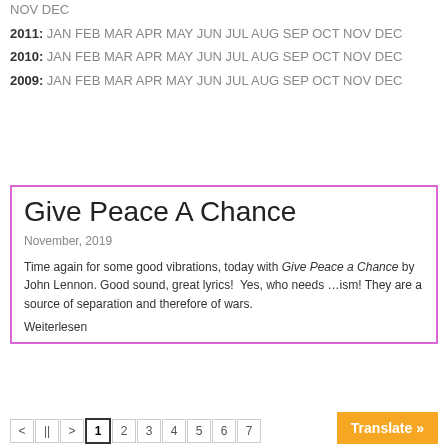NOV DEC
2011: JAN FEB MAR APR MAY JUN JUL AUG SEP OCT NOV DEC
2010: JAN FEB MAR APR MAY JUN JUL AUG SEP OCT NOV DEC
2009: JAN FEB MAR APR MAY JUN JUL AUG SEP OCT NOV DEC
Give Peace A Chance
November, 2019
Time again for some good vibrations, today with Give Peace a Chance by John Lennon. Good sound, great lyrics!  Yes, who needs …ism! They are a source of separation and therefore of wars. Weiterlesen
< || > 1 2 3 4 5 6 7
Translate »